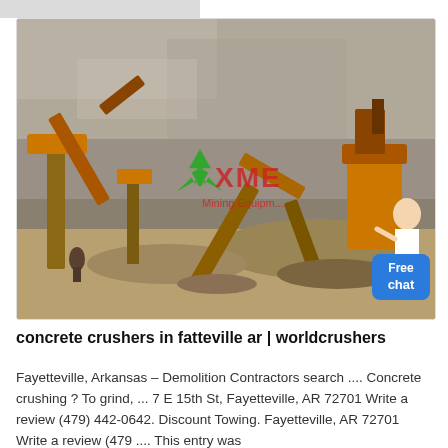[Figure (photo): Outdoor mining/crushing facility with orange industrial machinery, conveyor belts, and large rock face in background. XME Mining logo watermark visible in green and red in center of image. A woman figure and 'Free chat' button overlay on right side.]
concrete crushers in fatteville ar | worldcrushers
Fayetteville, Arkansas – Demolition Contractors search .... Concrete crushing ? To grind, ... 7 E 15th St, Fayetteville, AR 72701 Write a review (479) 442-0642. Discount Towing. Fayetteville, AR 72701 Write a review (479 .... This entry was